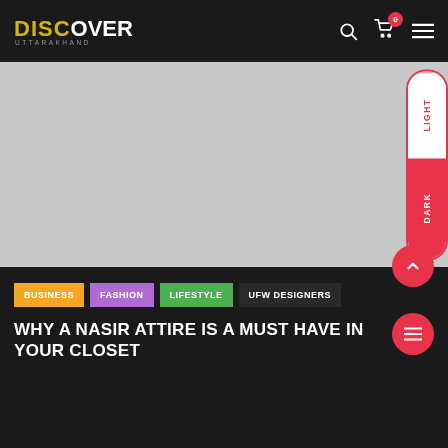DISCOVER UTTARAKHAND — navigation header with search, cart, and menu icons
[Figure (photo): Large gray placeholder hero image with a Light/Dark mode toggle pill on the right side]
BUSINESS
FASHION
LIFESTYLE
UFW DESIGNERS
WHY A NASIR ATTIRE IS A MUST HAVE IN YOUR CLOSET